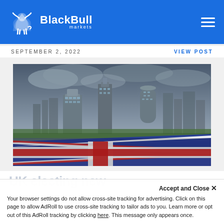BlackBull markets
SEPTEMBER 2, 2022
VIEW POST
[Figure (photo): London city skyline with modern skyscraper buildings including the Gherkin and Walkie Talkie, with a Union Jack flag in the foreground against a cloudy sky]
UK electing new ... will this affect the GBP?
Accept and Close ✕
Your browser settings do not allow cross-site tracking for advertising. Click on this page to allow AdRoll to use cross-site tracking to tailor ads to you. Learn more or opt out of this AdRoll tracking by clicking here. This message only appears once.